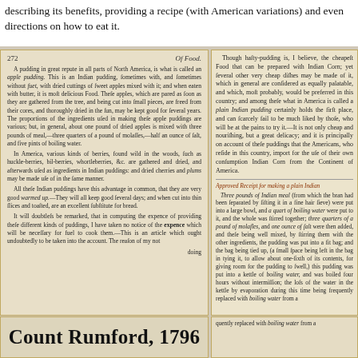describing its benefits, providing a recipe (with American variations) and even directions on how to eat it.
[Figure (photo): Scanned pages of an old book showing two columns of text. Left page numbered 272, headed 'Of Food.' discussing apple pudding, Indian puddings, berries used in puddings, and the expense of providing puddings. Right page continues discussion of hasty-pudding and its benefits, then gives an 'Approved Receipt for making a plain Indian' pudding. Bottom of left page shows large text reading 'Count Rumford, 1796'.]